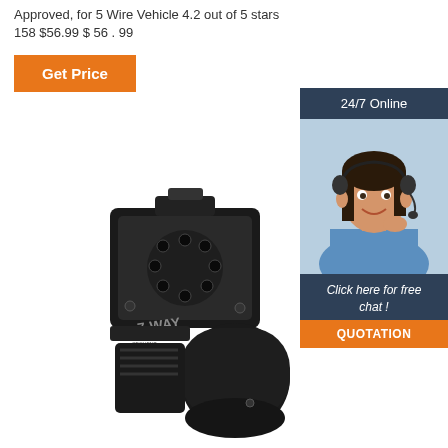Approved, for 5 Wire Vehicle 4.2 out of 5 stars 158 $56.99 $ 56 . 99
[Figure (other): Orange 'Get Price' button]
[Figure (other): Sidebar with '24/7 Online' dark blue header, photo of female customer service representative with headset, 'Click here for free chat!' text, and orange QUOTATION button]
[Figure (photo): Black 7-WAY trailer connector/socket product photo on white background]